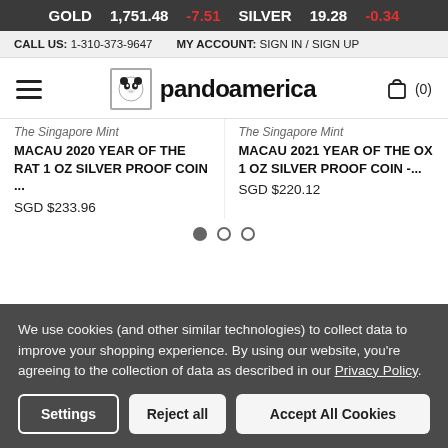GOLD 1,751.48 -7.51 SILVER 19.28 -0.34
CALL US: 1-310-373-9647   MY ACCOUNT: SIGN IN / SIGN UP
[Figure (logo): Pandaamerica logo with panda icon, hamburger menu, and shopping cart (0)]
The Singapore Mint
MACAU 2020 YEAR OF THE RAT 1 OZ SILVER PROOF COIN ...
SGD $233.96
The Singapore Mint
MACAU 2021 YEAR OF THE OX 1 OZ SILVER PROOF COIN -...
SGD $220.12
We use cookies (and other similar technologies) to collect data to improve your shopping experience. By using our website, you're agreeing to the collection of data as described in our Privacy Policy.